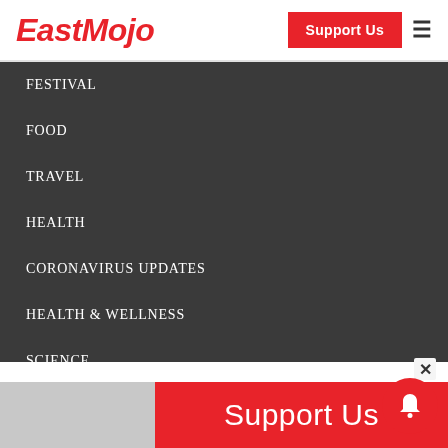EastMojo
FESTIVAL
FOOD
TRAVEL
HEALTH
CORONAVIRUS UPDATES
HEALTH & WELLNESS
SCIENCE
TECHNOLOGY
SPORTS
Support Us